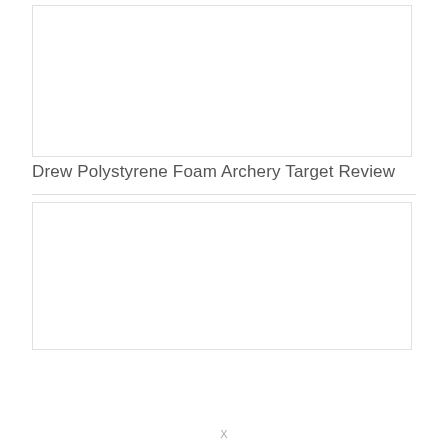[Figure (photo): Empty white image box with light border, upper portion of page]
Drew Polystyrene Foam Archery Target Review
[Figure (photo): Empty white image box with light border, lower portion of page]
X